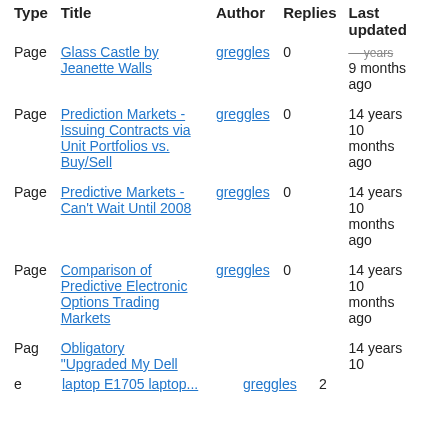| Type | Title | Author | Replies | Last updated |
| --- | --- | --- | --- | --- |
| Page | Glass Castle by Jeanette Walls | greggles | 0 | 9 months ago |
| Page | Prediction Markets - Issuing Contracts via Unit Portfolios vs. Buy/Sell | greggles | 0 | 14 years 10 months ago |
| Page | Predictive Markets - Can't Wait Until 2008 | greggles | 0 | 14 years 10 months ago |
| Page | Comparison of Predictive Electronic Options Trading Markets | greggles | 0 | 14 years 10 months ago |
| Page | Obligatory "Upgraded My Dell Inspiron E1705 Laptop..." |  | 2 | 14 years 10 months ago |